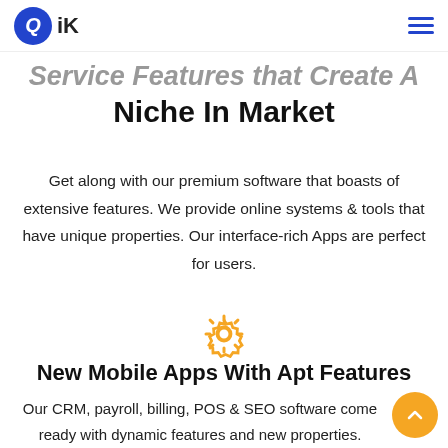QiK
Service Features that Create A Niche In Market
Get along with our premium software that boasts of extensive features. We provide online systems & tools that have unique properties. Our interface-rich Apps are perfect for users.
[Figure (illustration): Orange gear/settings icon]
New Mobile Apps With Apt Features
Our CRM, payroll, billing, POS & SEO software come ready with dynamic features and new properties.